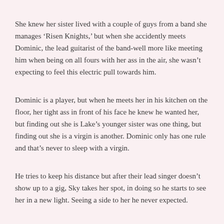She knew her sister lived with a couple of guys from a band she manages ‘Risen Knights,’ but when she accidently meets Dominic, the lead guitarist of the band-well more like meeting him when being on all fours with her ass in the air, she wasn’t expecting to feel this electric pull towards him.
Dominic is a player, but when he meets her in his kitchen on the floor, her tight ass in front of his face he knew he wanted her, but finding out she is Lake’s younger sister was one thing, but finding out she is a virgin is another. Dominic only has one rule and that’s never to sleep with a virgin.
He tries to keep his distance but after their lead singer doesn’t show up to a gig, Sky takes her spot, in doing so he starts to see her in a new light. Seeing a side to her he never expected.